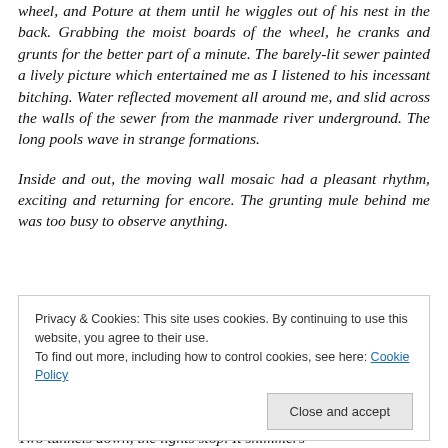wheel, and Poture at them until he wiggles out of his nest in the back. Grabbing the moist boards of the wheel, he cranks and grunts for the better part of a minute. The barely-lit sewer painted a lively picture which entertained me as I listened to his incessant bitching. Water reflected movement all around me, and slid across the walls of the sewer from the manmade river underground. The long pools wave in strange formations.
Inside and out, the moving wall mosaic had a pleasant rhythm, exciting and returning for encore. The grunting mule behind me was too busy to observe anything.
Privacy & Cookies: This site uses cookies. By continuing to use this website, you agree to their use. To find out more, including how to control cookies, see here: Cookie Policy
Two tunnels down, the lights stop. It shimmers